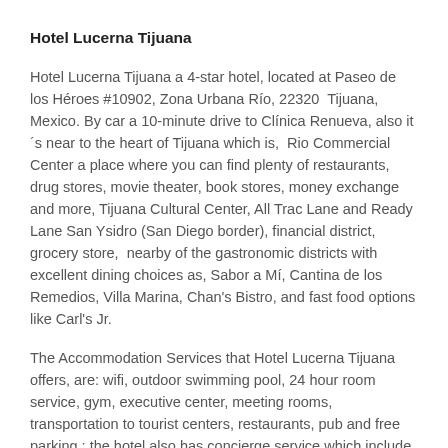Hotel Lucerna Tijuana
Hotel Lucerna Tijuana a 4-star hotel, located at Paseo de los Héroes #10902, Zona Urbana Río, 22320  Tijuana, Mexico. By car a 10-minute drive to Clínica Renueva, also it´s near to the heart of Tijuana which is,  Rio Commercial Center a place where you can find plenty of restaurants, drug stores, movie theater, book stores, money exchange and more, Tijuana Cultural Center, All Trac Lane and Ready Lane San Ysidro (San Diego border), financial district, grocery store,  nearby of the gastronomic districts with excellent dining choices as, Sabor a Mí, Cantina de los Remedios, Villa Marina, Chan's Bistro, and fast food options like Carl's Jr.
The Accommodation Services that Hotel Lucerna Tijuana offers, are: wifi, outdoor swimming pool, 24 hour room service, gym, executive center, meeting rooms, transportation to tourist centers, restaurants, pub and free parking ; the hotel also has concierge service which include car rental